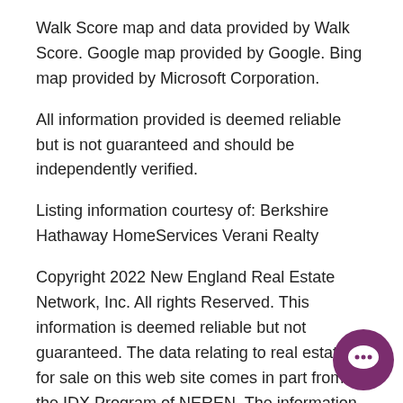Walk Score map and data provided by Walk Score. Google map provided by Google. Bing map provided by Microsoft Corporation.
All information provided is deemed reliable but is not guaranteed and should be independently verified.
Listing information courtesy of: Berkshire Hathaway HomeServices Verani Realty
Copyright 2022 New England Real Estate Network, Inc. All rights Reserved. This information is deemed reliable but not guaranteed. The data relating to real estate for sale on this web site comes in part from the IDX Program of NEREN. The information being provided is for consumers' personal, non- commercial use and may not be used for any purpose other than to identify prospective prop consumers may be interested in purchasing. Data last